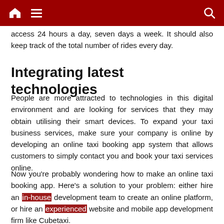Navigation bar with home, menu, and search icons
access 24 hours a day, seven days a week. It should also keep track of the total number of rides every day.
Integrating latest technologies
People are more attracted to technologies in this digital environment and are looking for services that they may obtain utilising their smart devices. To expand your taxi business services, make sure your company is online by developing an online taxi booking app system that allows customers to simply contact you and book your taxi services online.
Now you're probably wondering how to make an online taxi booking app. Here's a solution to your problem: either hire an in-house development team to create an online platform, or hire an experienced website and mobile app development firm like Cubetaxi.